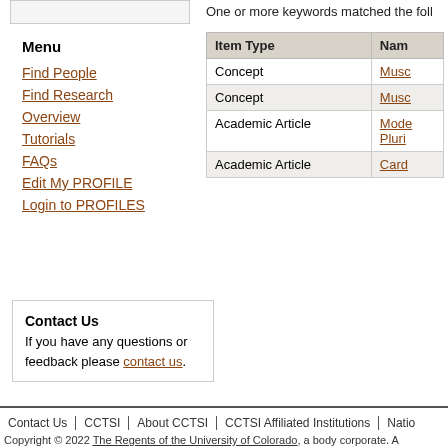One or more keywords matched the foll
Menu
Find People
Find Research
Overview
Tutorials
FAQs
Edit My PROFILE
Login to PROFILES
| Item Type | Nam |
| --- | --- |
| Concept | Musc |
| Concept | Musc |
| Academic Article | Mode
Pluri |
| Academic Article | Card |
Contact Us
If you have any questions or feedback please contact us.
Contact Us | CCTSI | About CCTSI | CCTSI Affiliated Institutions | Natio
Copyright © 2022 The Regents of the University of Colorado, a body corporate. A